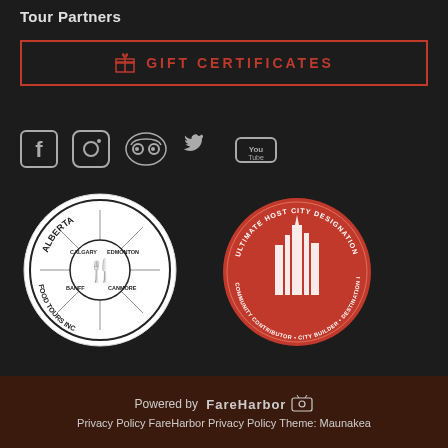Tour Partners
[Figure (infographic): Gift Certificates button with red border, red gift box icon, and red text 'GIFT CERTIFICATES']
[Figure (infographic): Social media icons row: Facebook, Instagram, TripAdvisor, Twitter, YouTube]
[Figure (logo): Alberta Food Tours Inc. circular logo in black and white]
[Figure (logo): Ultimate Host City Designation circular red badge with city skyline]
Powered by FareHarbor  Privacy Policy FareHarbor Privacy Policy Theme: Maunakea